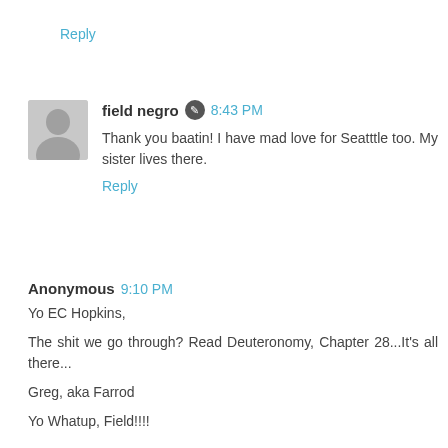Reply
field negro  8:43 PM
Thank you baatin! I have mad love for Seatttle too. My sister lives there.
Reply
Anonymous  9:10 PM
Yo EC Hopkins,

The shit we go through? Read Deuteronomy, Chapter 28...It's all there...

Greg, aka Farrod

Yo Whatup, Field!!!!
Reply